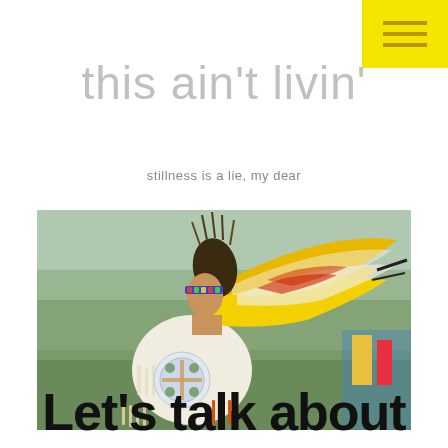menu icon (hamburger) in yellow box
this ain't livin'
stillness is a lie, my dear
[Figure (photo): Native American dancer in traditional powwow regalia with colorful feathers (yellow, white, red, black) and a decorated circular medallion on back, photographed outdoors at a powwow event.]
Let's talk about